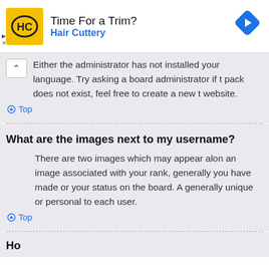[Figure (other): Hair Cuttery advertisement banner with yellow HC logo, text 'Time For a Trim?' and 'Hair Cuttery', and a blue diamond navigation arrow icon on the right.]
Either the administrator has not installed your language. Try asking a board administrator if the pack does not exist, feel free to create a new t website.
Top
What are the images next to my username?
There are two images which may appear along an image associated with your rank, generally you have made or your status on the board. A generally unique or personal to each user.
Top